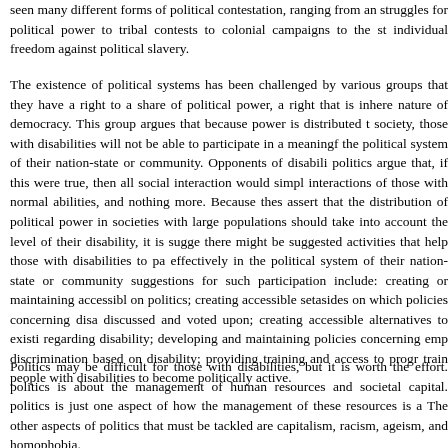seen many different forms of political contestation, ranging from an struggles for political power to tribal contests to colonial campaigns to the st individual freedom against political slavery.
The existence of political systems has been challenged by various groups that they have a right to a share of political power, a right that is inhere nature of democracy. This group argues that because power is distributed t society, those with disabilities will not be able to participate in a meaningf the political system of their nation-state or community. Opponents of disabili politics argue that, if this were true, then all social interaction would simpl interactions of those with normal abilities, and nothing more. Because thes assert that the distribution of political power in societies with large populations should take into account the level of their disability, it is sugge there might be suggested activities that help those with disabilities to pa effectively in the political system of their nation-state or community suggestions for such participation include: creating or maintaining accessibl on politics; creating accessible setasides on which policies concerning disa discussed and voted upon; creating accessible alternatives to existi regarding disability; developing and maintaining policies concerning emp discrimination based on disability; providing training and access to progr train people with disabilities to become politically active.
Politics may be difficult for those with disabilities, but it is worth the effort. politics is about the management of human resources and societal capital. politics is just one aspect of how the management of these resources is a The other aspects of politics that must be tackled are capitalism, racism, ageism, and homophobia.